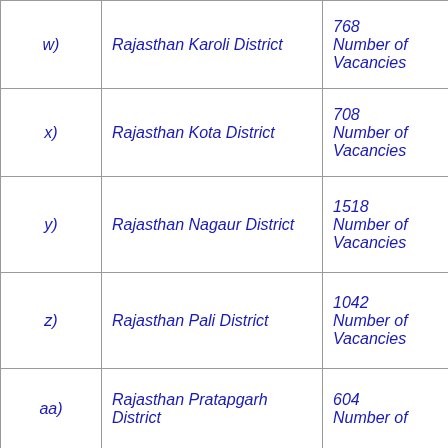|  | District | Vacancies |
| --- | --- | --- |
| w) | Rajasthan Karoli District | 768 Number of Vacancies |
| x) | Rajasthan Kota District | 708 Number of Vacancies |
| y) | Rajasthan Nagaur District | 1518 Number of Vacancies |
| z) | Rajasthan Pali District | 1042 Number of Vacancies |
| aa) | Rajasthan Pratapgarh District | 604 Number of Vacancies |